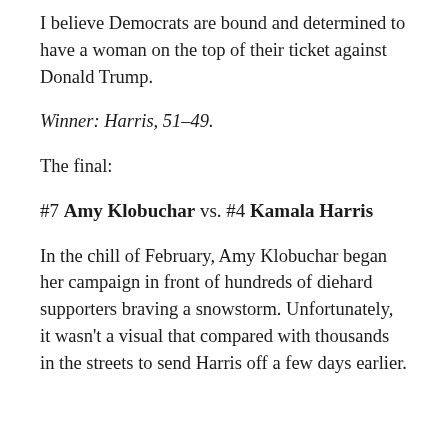I believe Democrats are bound and determined to have a woman on the top of their ticket against Donald Trump.
Winner: Harris, 51-49.
The final:
#7 Amy Klobuchar vs. #4 Kamala Harris
In the chill of February, Amy Klobuchar began her campaign in front of hundreds of diehard supporters braving a snowstorm. Unfortunately, it wasn't a visual that compared with thousands in the streets to send Harris off a few days earlier.